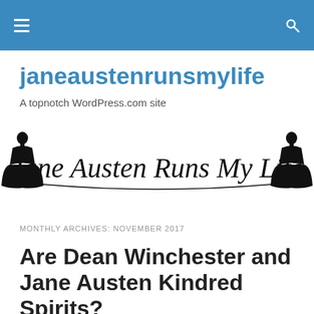janeaustenrunsmylife
A topnotch WordPress.com site
[Figure (illustration): Decorative banner reading 'Jane Austen Runs My Life' in cursive script, flanked by silhouettes of Jane Austen's dress figure on both sides, black on white background.]
MONTHLY ARCHIVES: NOVEMBER 2017
Are Dean Winchester and Jane Austen Kindred Spirits?